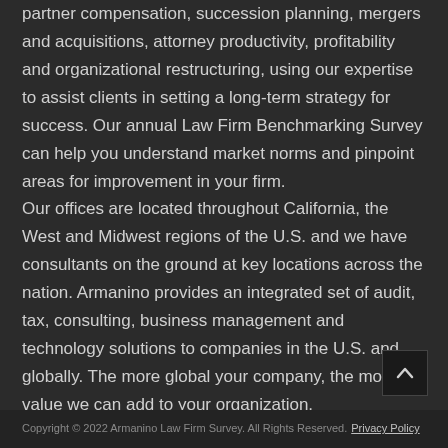partner compensation, succession planning, mergers and acquisitions, attorney productivity, profitability and organizational restructuring, using our expertise to assist clients in setting a long-term strategy for success. Our annual Law Firm Benchmarking Survey can help you understand market norms and pinpoint areas for improvement in your firm.
Our offices are located throughout California, the West and Midwest regions of the U.S. and we have consultants on the ground at key locations across the nation. Armanino provides an integrated set of audit, tax, consulting, business management and technology solutions to companies in the U.S. and globally. The more global your company, the more value we can add to your organization.
Copyright © 2022 Armanino Law Firm Survey. All Rights Reserved. Privacy Policy